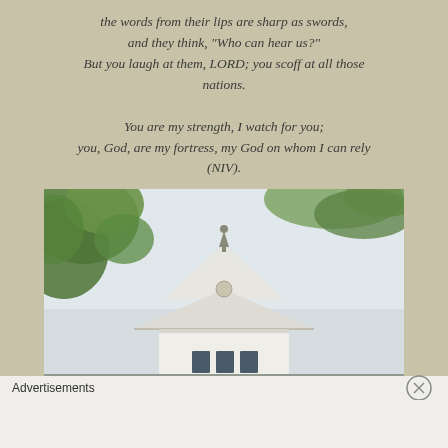the words from their lips are sharp as swords,
and they think, "Who can hear us?"
But you laugh at them, LORD; you scoff at all those nations.
You are my strength, I watch for you;
you, God, are my fortress, my God on whom I can rely (NIV).
[Figure (photo): Photo of a white Japanese-style castle or temple roof with traditional curved eaves and a decorative finial at the top, framed by green tree branches and leaves against a light sky.]
Advertisements